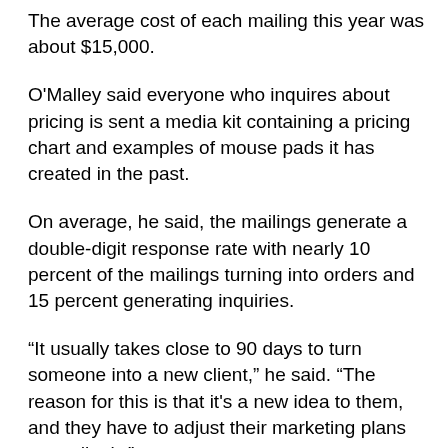The average cost of each mailing this year was about $15,000.
O'Malley said everyone who inquires about pricing is sent a media kit containing a pricing chart and examples of mouse pads it has created in the past.
On average, he said, the mailings generate a double-digit response rate with nearly 10 percent of the mailings turning into orders and 15 percent generating inquiries.
“It usually takes close to 90 days to turn someone into a new client,” he said. “The reason for this is that it's a new idea to them, and they have to adjust their marketing plans accordingly.”